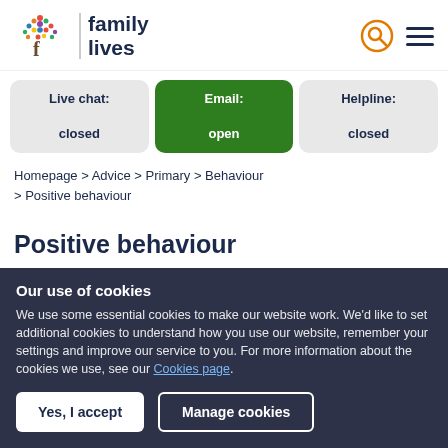family lives
Live chat: closed | Email: open | Helpline: closed
Homepage > Advice > Primary > Behaviour > Positive behaviour
Positive behaviour
Our use of cookies
We use some essential cookies to make our website work. We'd like to set additional cookies to understand how you use our website, remember your settings and improve our service to you. For more information about the cookies we use, see our Cookies page.
Yes, I accept | Manage cookies